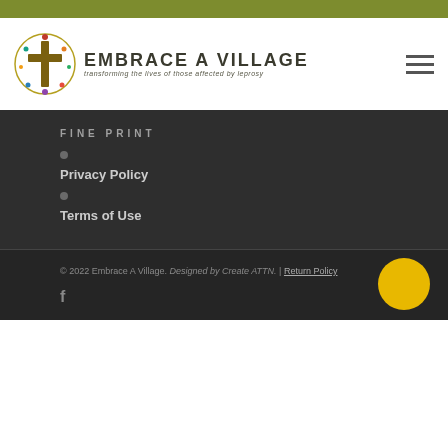[Figure (logo): Embrace A Village logo with cross and decorative circular icon, tagline: transforming the lives of those affected by leprosy]
FINE PRINT
Privacy Policy
Terms of Use
© 2022 Embrace A Village. Designed by Create ATTN. | Return Policy